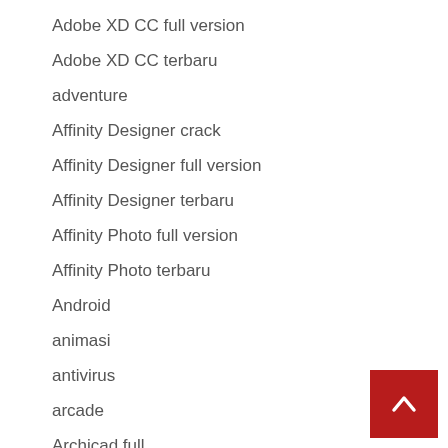Adobe XD CC full version
Adobe XD CC terbaru
adventure
Affinity Designer crack
Affinity Designer full version
Affinity Designer terbaru
Affinity Photo full version
Affinity Photo terbaru
Android
animasi
antivirus
arcade
Archicad full
audio